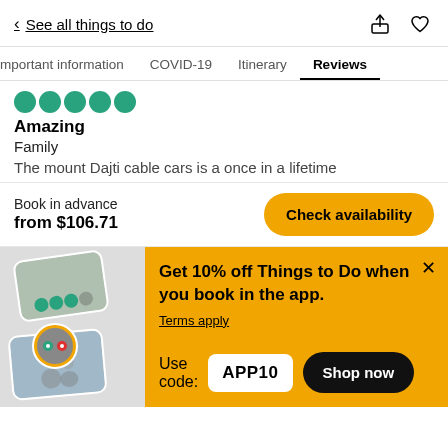< See all things to do
Important information  COVID-19  Itinerary  Reviews
Amazing
Family
The mount Dajti cable cars is a once in a lifetime
Book in advance
from $106.71
Check availability
Get 10% off Things to Do when you book in the app.
Terms apply
Use code: APP10
Shop now